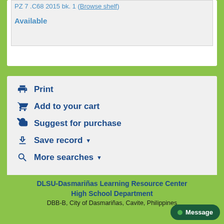PZ 7 .C68 2015 bk. 1 (Browse shelf)
Available
Print
Add to your cart
Suggest for purchase
Save record
More searches
DLSU-Dasmariñas Learning Resource Center High School Department DBB-B, City of Dasmariñas, Cavite, Philippines